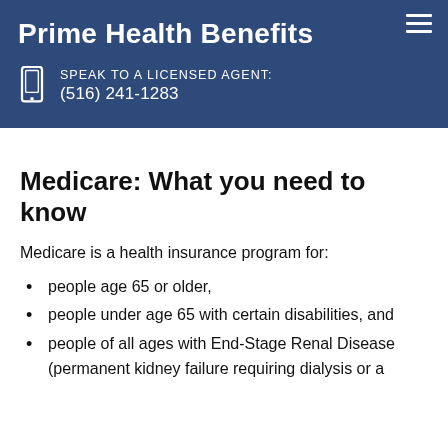Prime Health Benefits
SPEAK TO A LICENSED AGENT:
(516) 241-1283
Medicare: What you need to know
Medicare is a health insurance program for:
people age 65 or older,
people under age 65 with certain disabilities, and
people of all ages with End-Stage Renal Disease (permanent kidney failure requiring dialysis or a